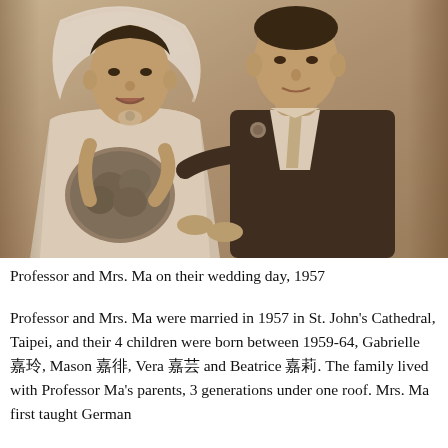[Figure (photo): Black and white (sepia) wedding photo of Professor and Mrs. Ma on their wedding day in 1957. The bride is on the left wearing a white wedding veil and gown, holding a bouquet of flowers. The groom is on the right wearing a dark suit with a boutonniere and tie.]
Professor and Mrs. Ma on their wedding day, 1957
Professor and Mrs. Ma were married in 1957 in St. John's Cathedral, Taipei, and their 4 children were born between 1959-64, Gabrielle 嘉玲, Mason 嘉弘, Vera 嘉芸 and Beatrice 嘉莉. The family lived with Professor Ma's parents, 3 generations under one roof. Mrs. Ma first taught German